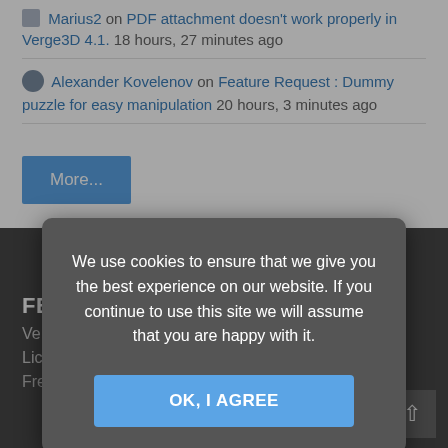Marius2 on PDF attachment doesn't work properly in Verge3D 4.1. 18 hours, 27 minutes ago
Alexander Kovelenov on Feature Request : Dummy puzzle for easy manipulation 20 hours, 3 minutes ago
More...
FE...
Ve...
Licensing Options
Frequently Asked Questions
We use cookies to ensure that we give you the best experience on our website. If you continue to use this site we will assume that you are happy with it.
OK, I AGREE